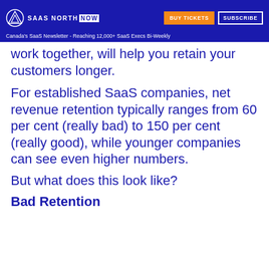SAAS NORTH NOW | BUY TICKETS | SUBSCRIBE
Canada's SaaS Newsletter - Reaching 12,000+ SaaS Execs Bi-Weekly
work together, will help you retain your customers longer.
For established SaaS companies, net revenue retention typically ranges from 60 per cent (really bad) to 150 per cent (really good), while younger companies can see even higher numbers.
But what does this look like?
Bad Retention